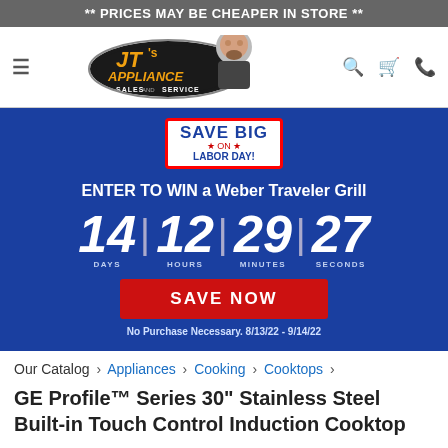** PRICES MAY BE CHEAPER IN STORE **
[Figure (logo): JT's Appliance Sales and Service logo with mascot character]
[Figure (infographic): Save Big on Labor Day promotional banner with countdown timer showing 14 days, 12 hours, 29 minutes, 27 seconds, and SAVE NOW button. Enter to WIN a Weber Traveler Grill. No Purchase Necessary. 8/13/22 - 9/14/22]
Our Catalog › Appliances › Cooking › Cooktops ›
GE Profile™ Series 30" Stainless Steel Built-in Touch Control Induction Cooktop